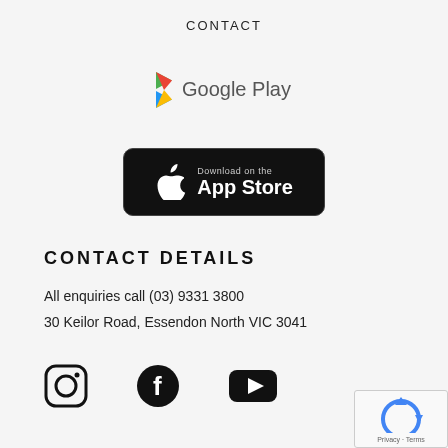CONTACT
[Figure (logo): Google Play logo with colorful triangle play icon and 'Google Play' text in grey]
[Figure (logo): Download on the App Store badge with Apple logo on black background]
CONTACT DETAILS
All enquiries call (03) 9331 3800
30 Keilor Road, Essendon North VIC 3041
[Figure (illustration): Social media icons: Instagram, Facebook, YouTube]
[Figure (illustration): reCAPTCHA badge with Privacy and Terms text]